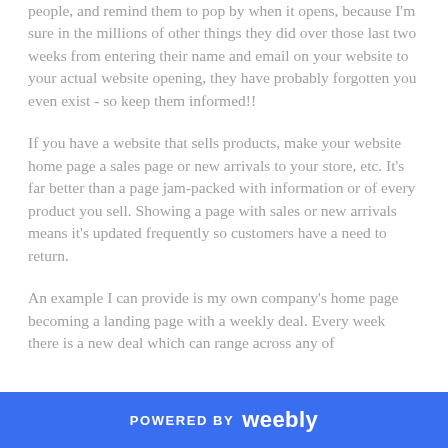people, and remind them to pop by when it opens, because I'm sure in the millions of other things they did over those last two weeks from entering their name and email on your website to your actual website opening, they have probably forgotten you even exist - so keep them informed!!
If you have a website that sells products, make your website home page a sales page or new arrivals to your store, etc. It's far better than a page jam-packed with information or of every product you sell. Showing a page with sales or new arrivals means it's updated frequently so customers have a need to return.
An example I can provide is my own company's home page becoming a landing page with a weekly deal. Every week there is a new deal which can range across any of
POWERED BY weebly